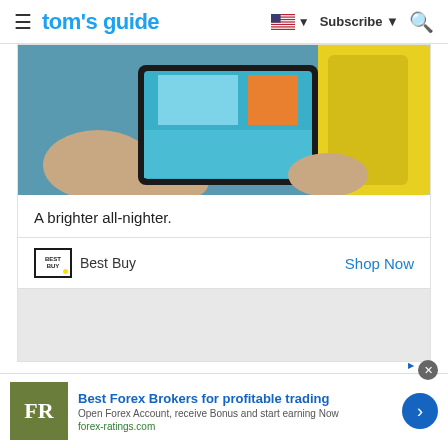tom's guide  |  Subscribe  |  Search
[Figure (photo): Hands holding a tablet/laptop device with images on screen, yellow bag in background]
A brighter all-nighter.
Best Buy    Shop Now
[Figure (illustration): Gray placeholder/ad area below Best Buy footer]
Dell XPS 13 Plus review: Design and
[Figure (infographic): Bottom banner ad: Best Forex Brokers for profitable trading. FR logo. Open Forex Account, receive Bonus and start earning Now. forex-ratings.com]